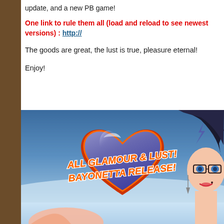update, and a new PB game!
One link to rule them all (load and reload to see newest versions) : http://
The goods are great, the lust is true, pleasure eternal!
Enjoy!
[Figure (illustration): Promotional illustration for 'All Glamour & Lust! Bayonetta Release!' showing a cartoon female character with dark hair and glasses against a blue sky background, with a large heart shape containing the title text in orange and red comic-style lettering.]